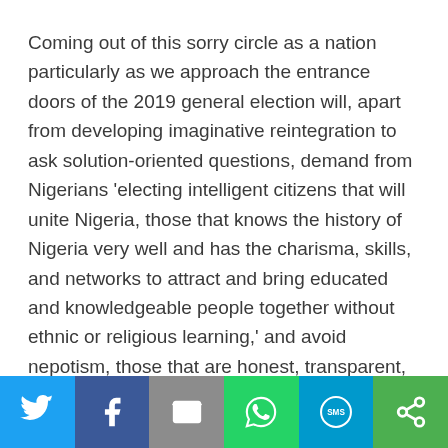Coming out of this sorry circle as a nation particularly as we approach the entrance doors of the 2019 general election will, apart from developing imaginative reintegration to ask solution-oriented questions, demand from Nigerians ‘electing intelligent citizens that will unite Nigeria, those that knows the history of Nigeria very well and has the charisma, skills, and networks to attract and bring educated and knowledgeable people together without ethnic or religious learning,’ and avoid nepotism, those that are honest, transparent, and are not greedy.
Apart from the above demand, it may also be politically advantageous if Nigerians increasingly either by choice or
[Figure (infographic): Social media share bar with icons for Twitter (blue), Facebook (dark blue), Email (gray), WhatsApp (green), SMS (light blue), and a circular share icon (green)]